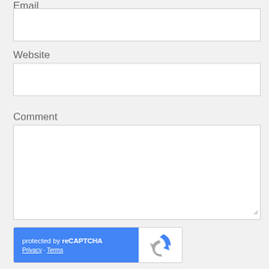Email
[Figure (screenshot): Empty email input text box]
Website
[Figure (screenshot): Empty website input text box]
Comment
[Figure (screenshot): Empty comment textarea with resize handle]
[Figure (other): reCAPTCHA widget with blue left panel showing 'protected by reCAPTCHA' and Privacy/Terms links, and white right panel with reCAPTCHA logo]